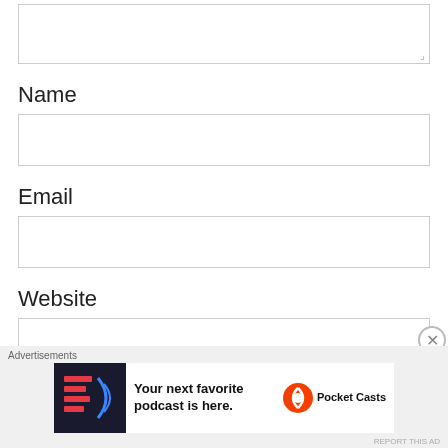[Figure (screenshot): Textarea input box with resize handle at bottom right]
Name
[Figure (screenshot): Name text input field]
Email
[Figure (screenshot): Email text input field]
Website
[Figure (screenshot): Website text input field]
Advertisements
[Figure (infographic): Pocket Casts advertisement banner: Your next favorite podcast is here.]